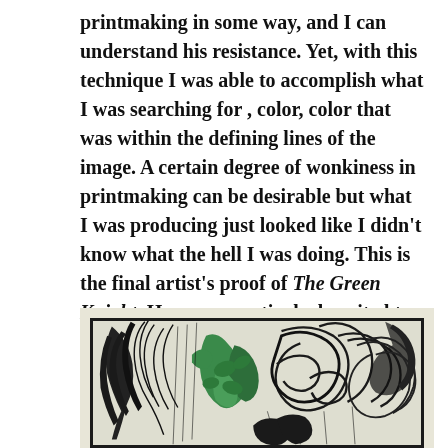printmaking in some way, and I can understand his resistance. Yet, with this technique I was able to accomplish what I was searching for , color, color that was within the defining lines of the image. A certain degree of wonkiness in printmaking can be desirable but what I was producing just looked like I didn't know what the hell I was doing. This is the final artist's proof of The Green Knight. He seems particularly suited to the winter holidays.
[Figure (illustration): Woodcut print illustration of The Green Knight — a detailed black-and-green linocut/woodblock print showing ornate swirling foliage, feathers, and decorative plant forms with green coloring accents against black and white carved lines, set within a rectangular border on a cream/off-white background.]